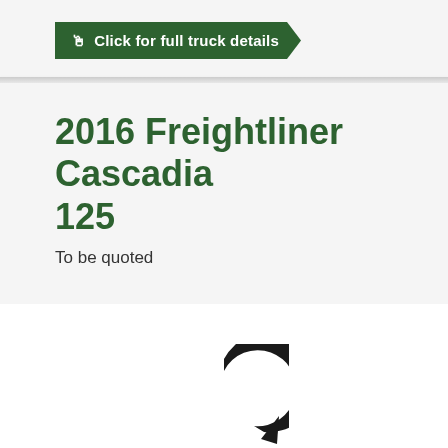[Figure (screenshot): Green arrow-shaped button with cursor icon reading 'Click for full truck details']
2016 Freightliner Cascadia 125
To be quoted
[Figure (illustration): Circular refresh/reload arrow icon in black]